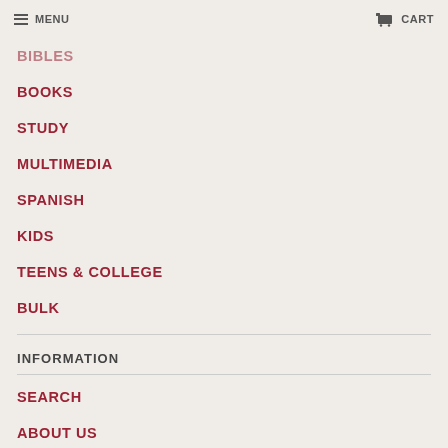MENU   CART
BIBLES
BOOKS
STUDY
MULTIMEDIA
SPANISH
KIDS
TEENS & COLLEGE
BULK
INFORMATION
SEARCH
ABOUT US
HOW WE GIVE
FAQ